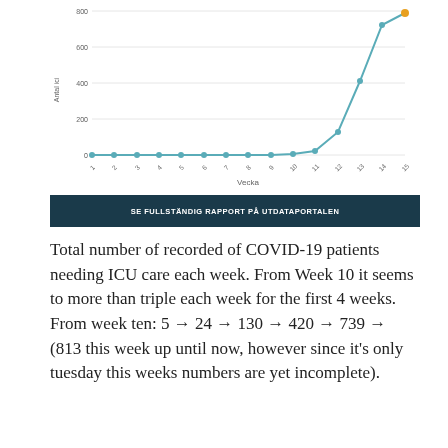[Figure (line-chart): ]
SE FULLSTÄNDIG RAPPORT PÅ UTDATAPORTALEN
Total number of recorded of COVID-19 patients needing ICU care each week. From Week 10 it seems to more than triple each week for the first 4 weeks. From week ten: 5 → 24 → 130 → 420 → 739 → (813 this week up until now, however since it's only tuesday this weeks numbers are yet incomplete).